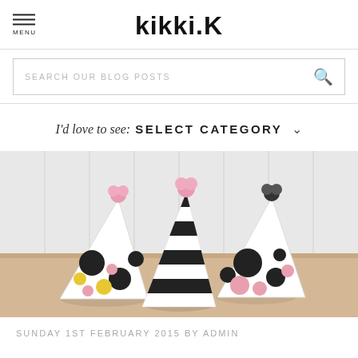kikki.K
SEARCH OUR BLOG POSTS
I'd love to see: SELECT CATEGORY
[Figure (photo): Three decorative party hats on a light wooden surface against a white panelled background. Left hat is white with black and yellow polka dots and a pink pom-pom. Centre hat is black and white striped with a pink pom-pom. Right hat is white with black and pink polka dots and a black pom-pom.]
SUNDAY 1ST FEBRUARY 2015 BY ADMIN